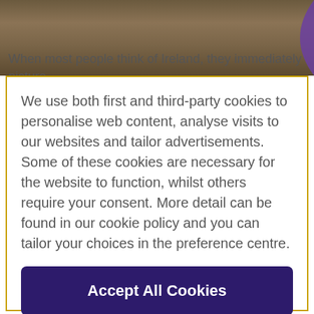[Figure (photo): Background nature/landscape photo of Ireland, partially visible behind cookie consent overlay. Shows brown/earthy tones suggesting moorland or countryside.]
When most people think of Ireland, they immediately picture
We use both first and third-party cookies to personalise web content, analyse visits to our websites and tailor advertisements. Some of these cookies are necessary for the website to function, whilst others require your consent. More detail can be found in our cookie policy and you can tailor your choices in the preference centre.
Accept All Cookies
Cookies Settings